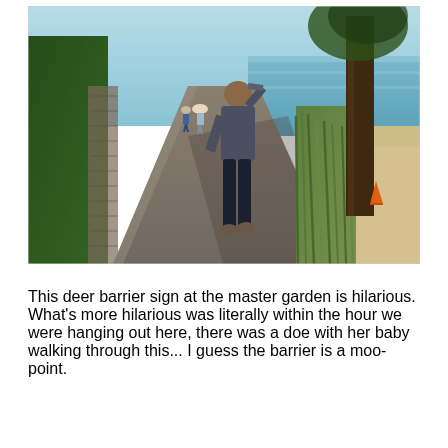[Figure (photo): Outdoor photo of a paved walking path near a beach. A person in a dark t-shirt and black pants walks away from the camera along the path, with one hand raised to their head. Several other people are visible further along the path. On the right side is tall grass, a tree trunk, and sandy beach area with blue water visible in the background. On the left is a stone wall with green vegetation.]
This deer barrier sign at the master garden is hilarious. What's more hilarious was literally within the hour we were hanging out here, there was a doe with her baby walking through this... I guess the barrier is a moo-point.